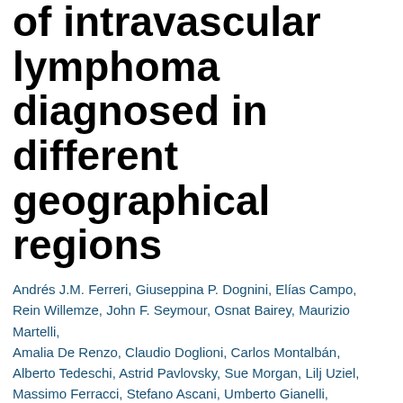of intravascular lymphoma diagnosed in different geographical regions
Andrés J.M. Ferreri, Giuseppina P. Dognini, Elías Campo, Rein Willemze, John F. Seymour, Osnat Bairey, Maurizio Martelli, Amalia De Renzo, Claudio Doglioni, Carlos Montalbán, Alberto Tedeschi, Astrid Pavlovsky, Sue Morgan, Lilj Uziel, Massimo Ferracci, Stefano Ascani, Umberto Gianelli, Carlo Patriarca, Fabio Facchetti, Alessio Dalla Libera, Barbara Pertoldi, Barbara Horváth, Arpad Szomor, Emanuele Zucca, Franco Cavalli, Maurilio Ponzoni, on behalf of the International Extranodal Lymphoma Study Group (IELSG)